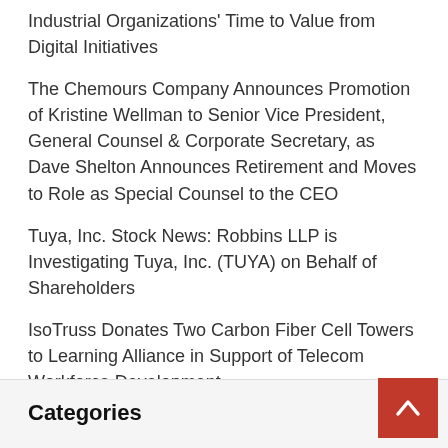Industrial Organizations' Time to Value from Digital Initiatives
The Chemours Company Announces Promotion of Kristine Wellman to Senior Vice President, General Counsel & Corporate Secretary, as Dave Shelton Announces Retirement and Moves to Role as Special Counsel to the CEO
Tuya, Inc. Stock News: Robbins LLP is Investigating Tuya, Inc. (TUYA) on Behalf of Shareholders
IsoTruss Donates Two Carbon Fiber Cell Towers to Learning Alliance in Support of Telecom Workforce Development
D23 Expo to Kick off With Epic Opening Ceremony That Includes Disney Legends Awards
Categories